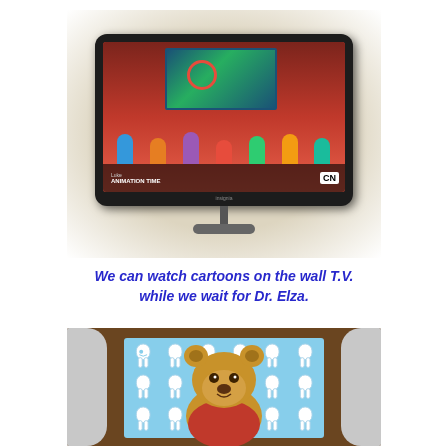[Figure (photo): A flat-screen TV mounted/sitting on a surface showing a Cartoon Network program with animated characters in a classroom-like setting. The TV has a black bezel and stand.]
We can watch cartoons on the wall T.V. while we wait for Dr. Elza.
[Figure (photo): A stuffed teddy bear wearing a red shirt, sitting on a blue and white patterned cloth/bib featuring tooth illustrations, placed in what appears to be a dental chair.]